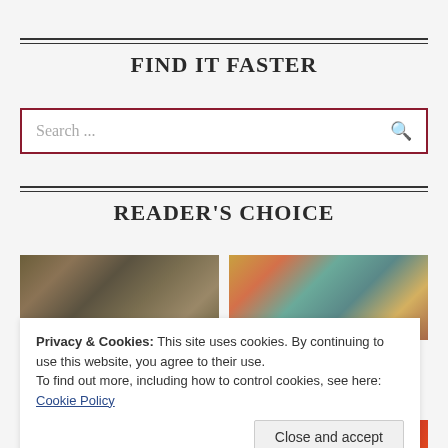FIND IT FASTER
Search ...
READER'S CHOICE
[Figure (photo): Two knitted fabric texture photos side by side]
Privacy & Cookies: This site uses cookies. By continuing to use this website, you agree to their use.
To find out more, including how to control cookies, see here: Cookie Policy
Close and accept